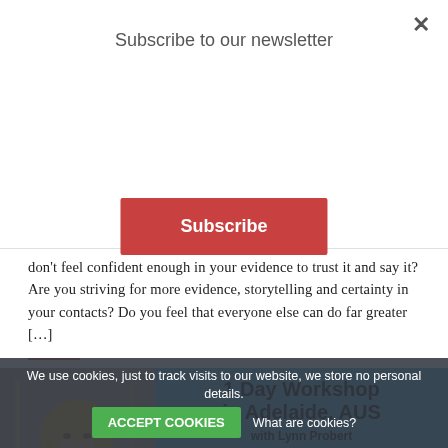Subscribe to our newsletter
Subscribe
don't feel confident enough in your evidence to trust it and say it? Are you striving for more evidence, storytelling and certainty in your contacts? Do you feel that everyone else can do far greater [...]
[Figure (photo): Woman smiling, blonde hair, dark top, in front of decorative background]
1 Day Workshop in Adelaide, AUS with Lynn Probert Setting the Foundations 27th March 2020 - 8.30am - 4pm
We use cookies, just to track visits to our website, we store no personal details.  ACCEPT COOKIES  What are cookies?